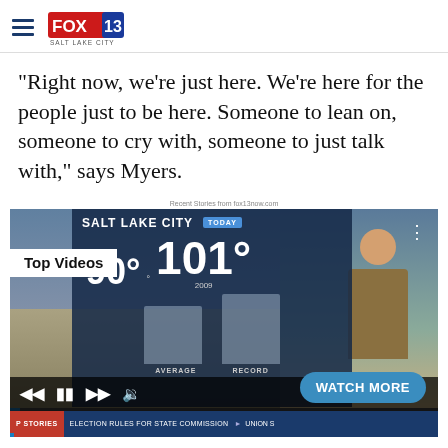FOX 13 SALT LAKE CITY
“Right now, we’re just here. We’re here for the people just to be here. Someone to lean on, someone to cry with, someone to just talk with,” says Myers.
Recent Stories from fox13now.com
[Figure (screenshot): FOX 13 video player screenshot showing a weather segment with Salt Lake City temperatures: 90° average and 101° record (2009). Top Videos badge visible. Controls bar with skip, pause, forward, mute icons. WATCH MORE button. Ticker showing election and union stories.]